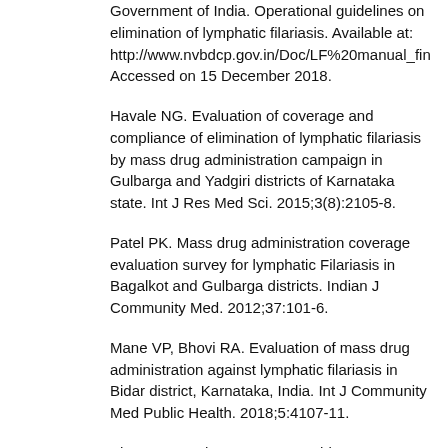Government of India. Operational guidelines on elimination of lymphatic filariasis. Available at: http://www.nvbdcp.gov.in/Doc/LF%20manual_fin Accessed on 15 December 2018.
Havale NG. Evaluation of coverage and compliance of elimination of lymphatic filariasis by mass drug administration campaign in Gulbarga and Yadgiri districts of Karnataka state. Int J Res Med Sci. 2015;3(8):2105-8.
Patel PK. Mass drug administration coverage evaluation survey for lymphatic Filariasis in Bagalkot and Gulbarga districts. Indian J Community Med. 2012;37:101-6.
Mane VP, Bhovi RA. Evaluation of mass drug administration against lymphatic filariasis in Bidar district, Karnataka, India. Int J Community Med Public Health. 2018;5:4107-11.
Shetty A, Santhuram AN, Nareshkumar SJ. Assessing coverage and compliance of mass drug administration under elimination of Lymphatic Filariasis program in Yadgir district, Karnataka.